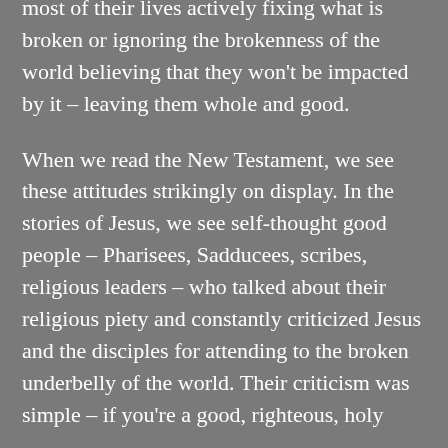self-thought 'good people' tend to spend most of their lives actively fixing what is broken or ignoring the brokenness of the world believing that they won't be impacted by it – leaving them whole and good.
When we read the New Testament, we see these attitudes strikingly on display. In the stories of Jesus, we see self-thought good people – Pharisees, Sadducees, scribes, religious leaders – who talked about their religious piety and constantly criticized Jesus and the disciples for attending to the broken underbelly of the world. Their criticism was simple – if you're a good, righteous, holy